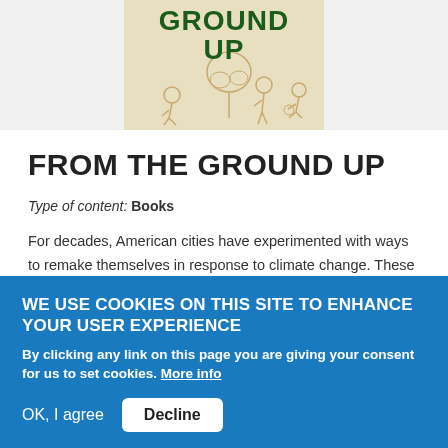[Figure (illustration): Book cover for 'From the Ground Up' showing dark green bold text on a beige/cream background with illustrated figures of people gardening or working outdoors.]
FROM THE GROUND UP
Type of content: Books
For decades, American cities have experimented with ways to remake themselves in response to climate change. These efforts, often driven by grassroots activism, offer valuable lessons for transforming the places we live.
WE USE COOKIES ON THIS SITE TO ENHANCE YOUR USER EXPERIENCE
By clicking any link on this page you are giving your consent for us to set cookies. More info
OK, I agree   Decline